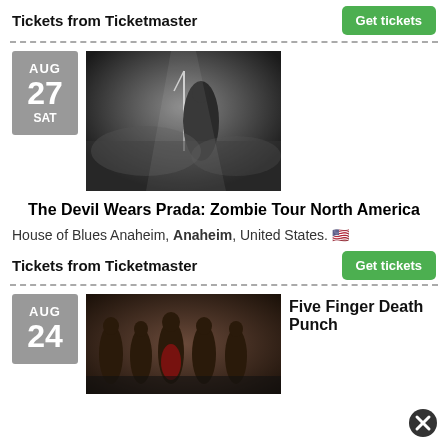Tickets from Ticketmaster
Get tickets
[Figure (photo): Concert photo showing a guitarist performing on stage with dramatic smoky atmospheric lighting]
The Devil Wears Prada: Zombie Tour North America
House of Blues Anaheim, Anaheim, United States. 🇺🇸
Tickets from Ticketmaster
Get tickets
[Figure (photo): Band photo of Five Finger Death Punch, five members posing in a dark industrial setting]
Five Finger Death Punch